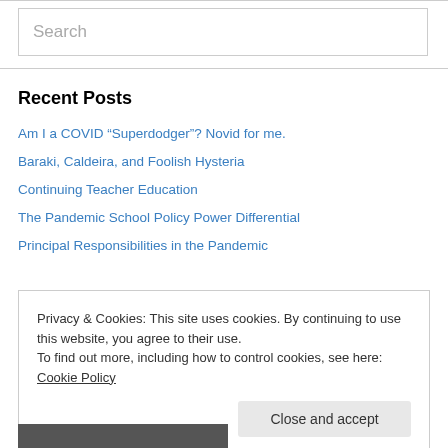Search
Recent Posts
Am I a COVID “Superdodger”? Novid for me.
Baraki, Caldeira, and Foolish Hysteria
Continuing Teacher Education
The Pandemic School Policy Power Differential
Principal Responsibilities in the Pandemic
Privacy & Cookies: This site uses cookies. By continuing to use this website, you agree to their use.
To find out more, including how to control cookies, see here: Cookie Policy
Close and accept